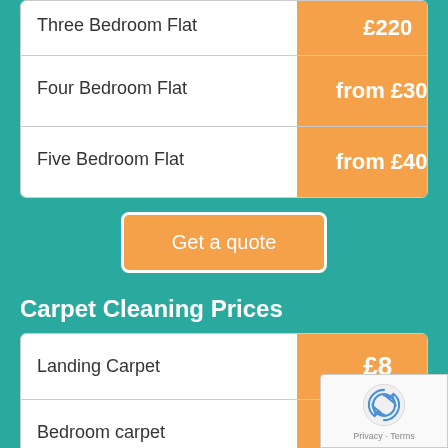| Property Type | Price |
| --- | --- |
| Three Bedroom Flat | £220 |
| Four Bedroom Flat | from £300 |
| Five Bedroom Flat | from £400 |
Get a quote
Carpet Cleaning Prices
| Item | Price |
| --- | --- |
| Landing Carpet | £8 |
| Bedroom carpet | £25 |
| Livingroom Carpet | £29 |